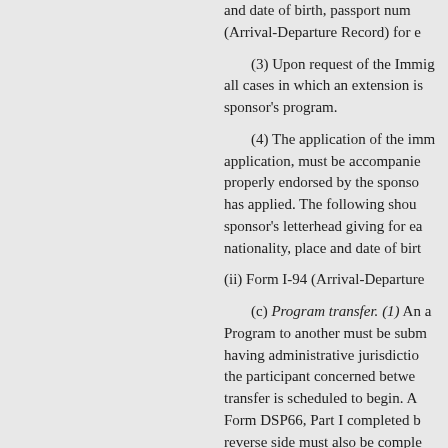and date of birth, passport number... (Arrival-Departure Record) for e...
(3) Upon request of the Immig... all cases in which an extension is... sponsor's program.
(4) The application of the imm... application, must be accompanie... properly endorsed by the sponso... has applied. The following shou... sponsor's letterhead giving for ea... nationality, place and date of birt...
(ii) Form I-94 (Arrival-Departure...
(c) Program transfer. (1) An a... Program to another must be subm... having administrative jurisdictio... the participant concerned betwe... transfer is scheduled to begin. A... Form DSP66, Part I completed b... reverse side must also be comple...
(2) Before acting on the partic... request the views of the Departm... cultural exchange program will b...